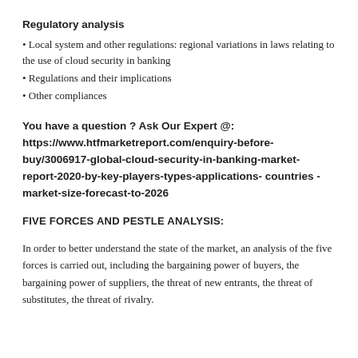Regulatory analysis
• Local system and other regulations: regional variations in laws relating to the use of cloud security in banking
• Regulations and their implications
• Other compliances
You have a question ? Ask Our Expert @: https://www.htfmarketreport.com/enquiry-before-buy/3006917-global-cloud-security-in-banking-market-report-2020-by-key-players-types-applications- countries -market-size-forecast-to-2026
FIVE FORCES AND PESTLE ANALYSIS:
In order to better understand the state of the market, an analysis of the five forces is carried out, including the bargaining power of buyers, the bargaining power of suppliers, the threat of new entrants, the threat of substitutes, the threat of rivalry.